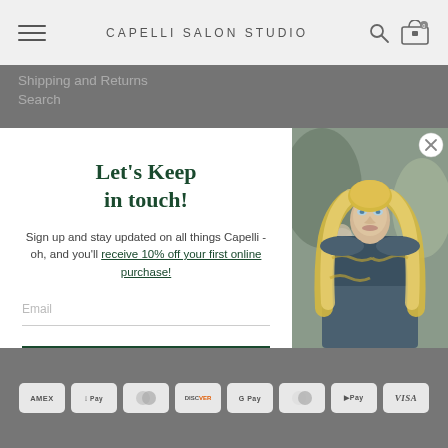CAPELLI SALON STUDIO
Shipping and Returns
Search
Let's Keep in touch!
Sign up and stay updated on all things Capelli - oh, and you'll receive 10% off your first online purchase!
[Figure (photo): Portrait of a blonde woman with wavy hair in a salon setting]
AMEX | Apple Pay | Diners Club | Discover | Google Pay | Mastercard | Pay | VISA